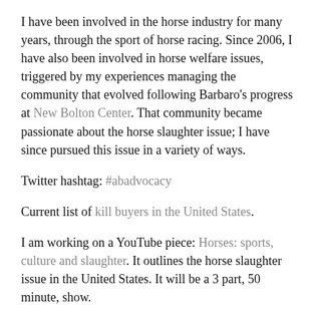I have been involved in the horse industry for many years, through the sport of horse racing. Since 2006, I have also been involved in horse welfare issues, triggered by my experiences managing the community that evolved following Barbaro's progress at New Bolton Center. That community became passionate about the horse slaughter issue; I have since pursued this issue in a variety of ways.
Twitter hashtag: #abadvocacy
Current list of kill buyers in the United States.
I am working on a YouTube piece: Horses: sports, culture and slaughter. It outlines the horse slaughter issue in the United States. It will be a 3 part, 50 minute, show.
Please join my Facebook page: Alex Brown: